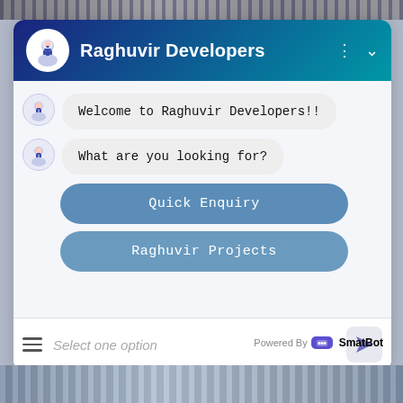[Figure (screenshot): Chat widget for Raghuvir Developers with header, bot messages, and quick reply buttons]
Welcome to Raghuvir Developers!!
What are you looking for?
Quick Enquiry
Raghuvir Projects
Select one option
Powered By SmatBot